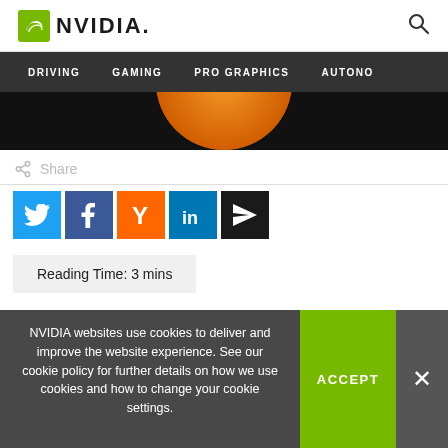NVIDIA. [logo] [search icon]
DRIVING  GAMING  PRO GRAPHICS  AUTONO
[Figure (photo): Black background with orange circular shape at the top center, partially visible — likely a glowing planet or sphere]
Share
[Figure (infographic): Social share buttons: Twitter (blue), Facebook (dark blue), Hacker News Y (orange), LinkedIn (blue), Email/send (black)]
Reading Time: 3 mins
NVIDIA websites use cookies to deliver and improve the website experience. See our cookie policy for further details on how we use cookies and how to change your cookie settings.
ACCEPT
×